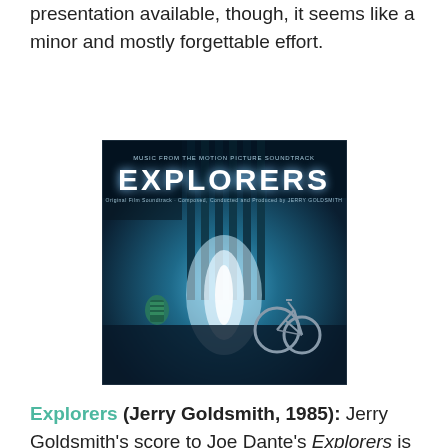presentation available, though, it seems like a minor and mostly forgettable effort.
[Figure (photo): Album cover for 'Explorers' soundtrack (Jerry Goldsmith, 1985). Dark blue-tinted image showing a bicycle leaning against a fence with a bright light beam and a robot/alien figure, with 'EXPLORERS' in large white letters at the top.]
Explorers (Jerry Goldsmith, 1985): Jerry Goldsmith's score to Joe Dante's Explorers is high on my list of scores that I would most like to receive an expanded re-issue on CD.  The existing Varese Sarabande soundtrack CD (a port of the old LP release) only contains a little over 30 minutes of Goldsmith's score, as well as a handful of pop